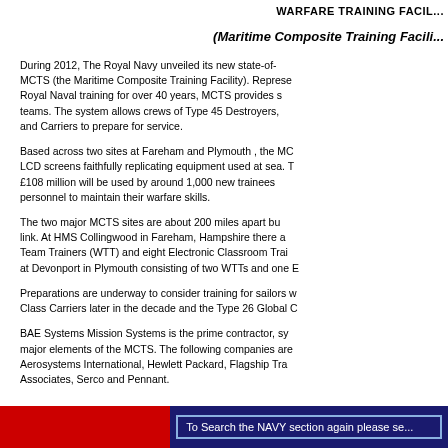WARFARE TRAINING FACIL...
(Maritime Composite Training Facili...
During 2012, The Royal Navy unveiled its new state-of-... MCTS (the Maritime Composite Training Facility). Represe... Royal Naval training for over 40 years, MCTS provides s... teams. The system allows crews of Type 45 Destroyers, ... and Carriers to prepare for service.
Based across two sites at Fareham and Plymouth , the MC... LCD screens faithfully replicating equipment used at sea. T... £108 million will be used by around 1,000 new trainees... personnel to maintain their warfare skills.
The two major MCTS sites are about 200 miles apart but... link. At HMS Collingwood in Fareham, Hampshire there a... Team Trainers (WTT) and eight Electronic Classroom Trai... at Devonport in Plymouth consisting of two WTTs and one E...
Preparations are underway to consider training for sailors w... Class Carriers later in the decade and the Type 26 Global C...
BAE Systems Mission Systems is the prime contractor, sy... major elements of the MCTS. The following companies are... Aerosystems International, Hewlett Packard, Flagship Tra... Associates, Serco and Pennant.
To Search the NAVY section again please se...